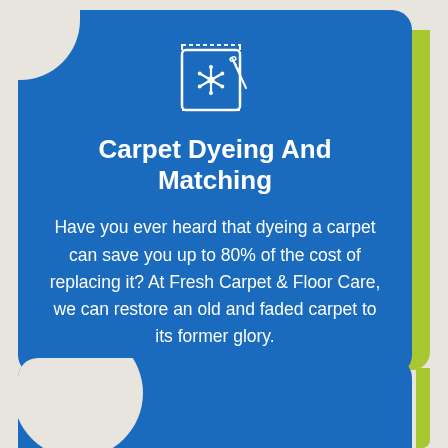[Figure (illustration): White icon of a carpet/rug sample swatch with a needle and thread, inside a square frame with serrated edges, on blue background]
Carpet Dyeing And Matching
Have you ever heard that dyeing a carpet can save you up to 80% of the cost of replacing it? At Fresh Carpet & Floor Care, we can restore an old and faded carpet to its former glory.